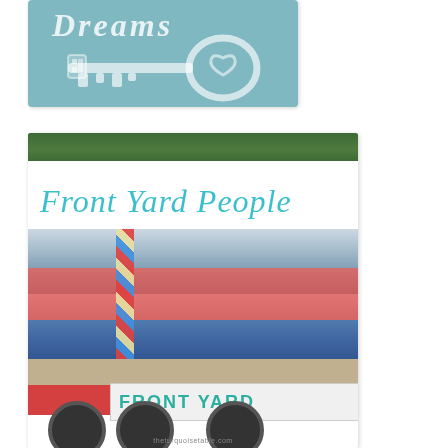[Figure (photo): Teal/blue-grey decorative card with 'Dreams' text in italic and a large key illustration in white/light tones]
[Figure (photo): Parade float photo with 'Front Yard People' text overlay. People in red and blue shirts riding a decorated float. Bottom of float shows 'FRONT YARD' banner. Website 'theturquoistable.com' at bottom.]